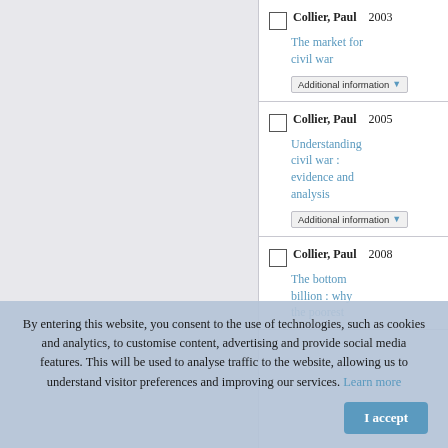Collier, Paul 2003 The market for civil war
Collier, Paul 2005 Understanding civil war : evidence and analysis
Collier, Paul 2008 The bottom billion : why the poorest
By entering this website, you consent to the use of technologies, such as cookies and analytics, to customise content, advertising and provide social media features. This will be used to analyse traffic to the website, allowing us to understand visitor preferences and improving our services. Learn more